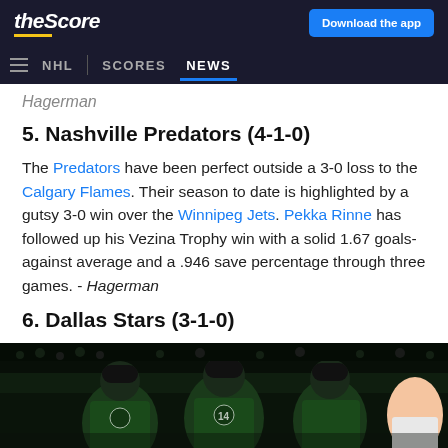theScore | Download the app
NHL | SCORES  NEWS
Hagerman
5. Nashville Predators (4-1-0)
The Predators have been perfect outside a 3-0 loss to the Calgary Flames. Their season to date is highlighted by a gutsy 3-0 win over the Winnipeg Jets. Pekka Rinne has followed up his Vezina Trophy win with a solid 1.67 goals-against average and a .946 save percentage through three games. - Hagerman
6. Dallas Stars (3-1-0)
[Figure (photo): Dallas Stars players in green jerseys celebrating]